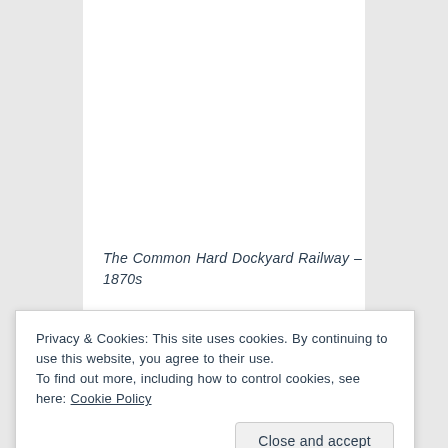The Common Hard Dockyard Railway – 1870s
Privacy & Cookies: This site uses cookies. By continuing to use this website, you agree to their use.
To find out more, including how to control cookies, see here: Cookie Policy